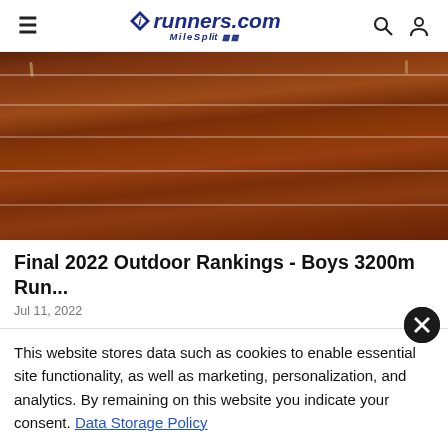≡  iTRunners.com MileSplit  🔍  👤
[Figure (photo): Close-up photo of a red clay running track with white lane lines visible]
Final 2022 Outdoor Rankings - Boys 3200m Run...
Jul 11, 2022
Check out the final high school rankings within the 2022 outdo
This website stores data such as cookies to enable essential site functionality, as well as marketing, personalization, and analytics. By remaining on this website you indicate your consent. Data Storage Policy